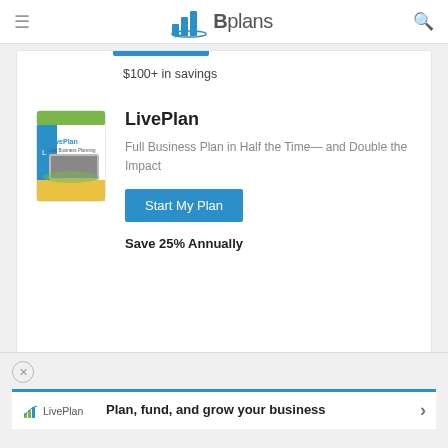Bplans
$100+ in savings
[Figure (photo): LivePlan product box image showing a laptop and the LivePlan logo]
LivePlan
Full Business Plan in Half the Time— and Double the Impact
Start My Plan
Save 25% Annually
[Figure (screenshot): LivePlan advertisement banner with logo, 'Plan, fund, and grow your business' text, and a right arrow, with a close (X) button]
Plan, fund, and grow your business